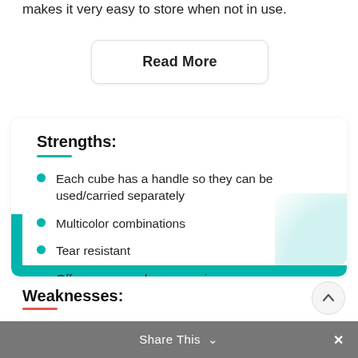makes it very easy to store when not in use.
Read More
Strengths:
Each cube has a handle so they can be used/carried separately
Multicolor combinations
Tear resistant
Offers very good compression
Weaknesses:
Share This ∨  ×